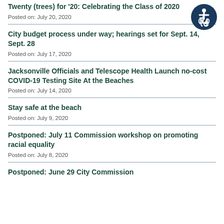Twenty (trees) for '20: Celebrating the Class of 2020
Posted on: July 20, 2020
City budget process under way; hearings set for Sept. 14, Sept. 28
Posted on: July 17, 2020
Jacksonville Officials and Telescope Health Launch no-cost COVID-19 Testing Site At the Beaches
Posted on: July 14, 2020
Stay safe at the beach
Posted on: July 9, 2020
Postponed: July 11 Commission workshop on promoting racial equality
Posted on: July 8, 2020
Postponed: June 29 City Commission